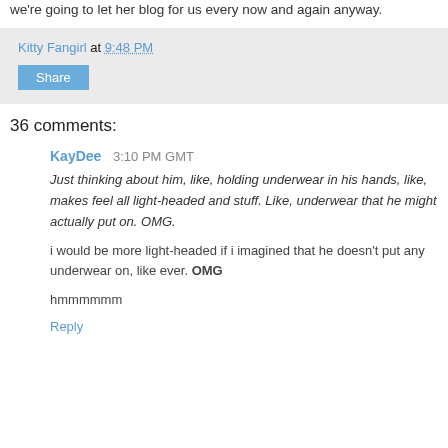we're going to let her blog for us every now and again anyway.
Kitty Fangirl at 9:48 PM
Share
36 comments:
KayDee  3:10 PM GMT
Just thinking about him, like, holding underwear in his hands, like, makes feel all light-headed and stuff. Like, underwear that he might actually put on. OMG.
i would be more light-headed if i imagined that he doesn't put any underwear on, like ever. OMG
hmmmmmm
Reply